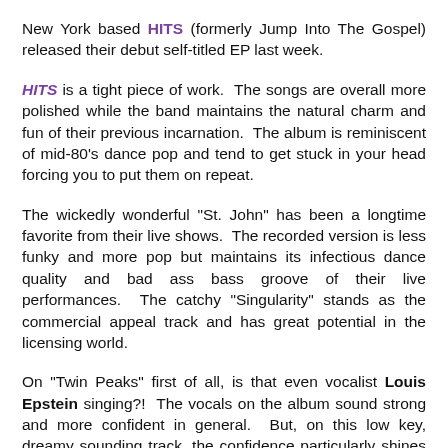New York based HITS (formerly Jump Into The Gospel) released their debut self-titled EP last week.
HITS is a tight piece of work. The songs are overall more polished while the band maintains the natural charm and fun of their previous incarnation. The album is reminiscent of mid-80's dance pop and tend to get stuck in your head forcing you to put them on repeat.
The wickedly wonderful "St. John" has been a longtime favorite from their live shows. The recorded version is less funky and more pop but maintains its infectious dance quality and bad ass bass groove of their live performances. The catchy "Singularity" stands as the commercial appeal track and has great potential in the licensing world.
On "Twin Peaks" first of all, is that even vocalist Louis Epstein singing?! The vocals on the album sound strong and more confident in general. But, on this low key, dreamy sounding track, the confidence particularly shines through in the deeper, richer tone. Somewhere out there, teens in angst are declaring this their song.